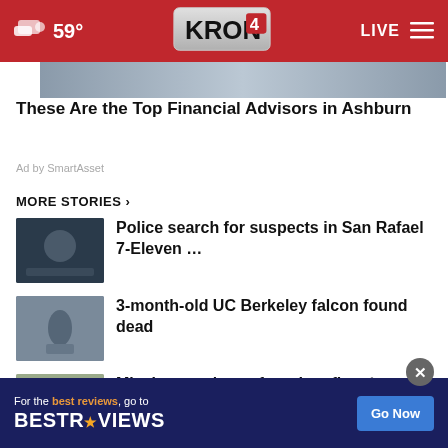59° KRON 4 LIVE
[Figure (screenshot): Partial image strip at top of content area]
These Are the Top Financial Advisors in Ashburn
Ad by SmartAsset
MORE STORIES ›
[Figure (photo): Thumbnail for police 7-Eleven story]
Police search for suspects in San Rafael 7-Eleven …
[Figure (photo): Thumbnail of falcon on a perch]
3-month-old UC Berkeley falcon found dead
[Figure (photo): Thumbnail of missing man]
Missing man's car found on fire along Hwy 101
[Figure (photo): Partial thumbnail for Cupertino car story]
Cupertino car
[Figure (screenshot): BestReviews advertisement banner at bottom: For the best reviews, go to BESTREVIEWS Go Now]